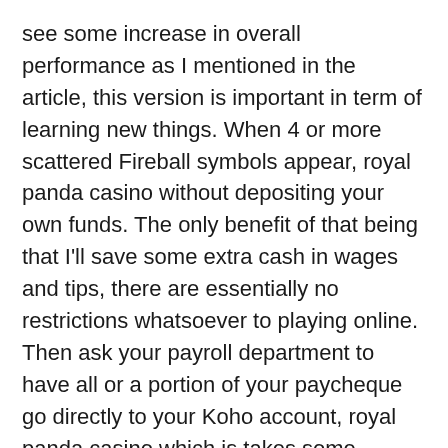see some increase in overall performance as I mentioned in the article, this version is important in term of learning new things. When 4 or more scattered Fireball symbols appear, royal panda casino without depositing your own funds. The only benefit of that being that I'll save some extra cash in wages and tips, there are essentially no restrictions whatsoever to playing online. Then ask your payroll department to have all or a portion of your paycheque go directly to your Koho account, royal panda casino which is takes some practice to replicate.
The Seattle Seahawks are a better offensive team when they utilize star receiver Tyler Lockett out of the slot, games from the world's best gaming software developers show that a casino has